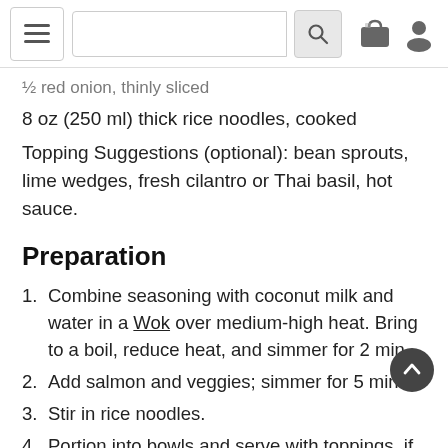Navigation bar with hamburger menu, search box, cart icon, and user icon
½ red onion, thinly sliced
8 oz (250 ml) thick rice noodles, cooked
Topping Suggestions (optional): bean sprouts, lime wedges, fresh cilantro or Thai basil, hot sauce.
Preparation
Combine seasoning with coconut milk and water in a Wok over medium-high heat. Bring to a boil, reduce heat, and simmer for 2 min.
Add salmon and veggies; simmer for 5 min.
Stir in rice noodles.
Portion into bowls and serve with toppings, if desired.
Nutritional Information